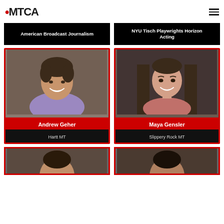MTCA
American Broadcast Journalism
NYU Tisch Playwrights Horizon Acting
[Figure (photo): Headshot of Andrew Geher, a young man smiling, wearing a purple shirt against a brick background]
Andrew Geher
Hartt MT
[Figure (photo): Headshot of Maya Gensler, a young woman with long straight dark hair, smiling]
Maya Gensler
Slippery Rock MT
[Figure (photo): Partial headshot of a person at the bottom left, cropped]
[Figure (photo): Partial headshot of a person at the bottom right, cropped]